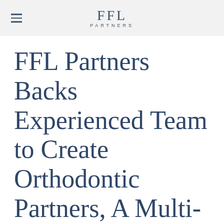FFL PARTNERS
FFL Partners Backs Experienced Team to Create Orthodontic Partners, A Multi-Practice